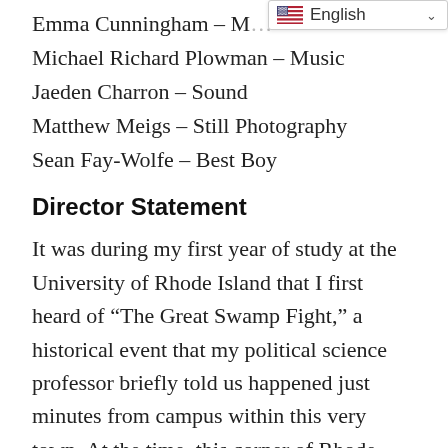Emma Cunningham – M[usic]
Michael Richard Plowman – Music
Jaeden Charron – Sound
Matthew Meigs – Still Photography
Sean Fay-Wolfe – Best Boy
Director Statement
It was during my first year of study at the University of Rhode Island that I first heard of “The Great Swamp Fight,” a historical event that my political science professor briefly told us happened just minutes from campus within this very town. At the time, this corner of Rhode Island was still an entirely unknown place to me, so I decided to do some research on my own and visit